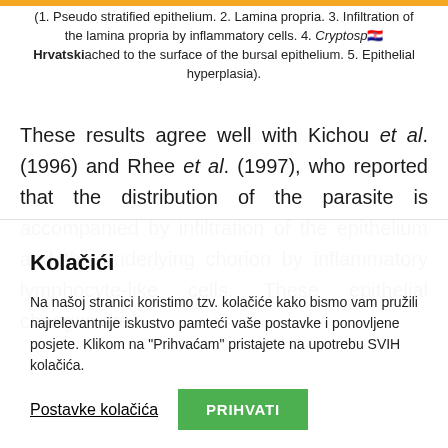(1. Pseudo stratified epithelium. 2. Lamina propria. 3. Infiltration of the lamina propria by inflammatory cells. 4. Cryptosporidium attached to the surface of the bursal epithelium. 5. Epithelial hyperplasia).
These results agree well with Kichou et al. (1996) and Rhee et al. (1997), who reported that the distribution of the parasite is accompanied by infiltration of the epithelium and the underlying chorion by inflammatory lymphocyte-like cells. These epithelial changes are
Kolačići
Na našoj stranici koristimo tzv. kolačiće kako bismo vam pružili najrelevantnije iskustvo pamteći vaše postavke i ponovljene posjete. Klikom na "Prihvaćam" pristajete na upotrebu SVIH kolačića.
Postavke kolačića | PRIHVATI